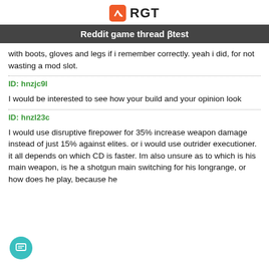RGT
Reddit game thread βtest
with boots, gloves and legs if i remember correctly. yeah i did, for not wasting a mod slot.
ID: hnzjc9l
I would be interested to see how your build and your opinion look
ID: hnzl23c
I would use disruptive firepower for 35% increase weapon damage instead of just 15% against elites. or i would use outrider executioner. it all depends on which CD is faster. Im also unsure as to which is his main weapon, is he a shotgun main switching for his longrange, or how does he play, because he